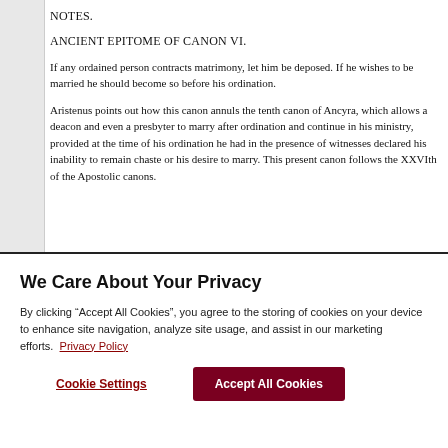NOTES.
ANCIENT EPITOME OF CANON VI.
If any ordained person contracts matrimony, let him be deposed. If he wishes to be married he should become so before his ordination.
Aristenus points out how this canon annuls the tenth canon of Ancyra, which allows a deacon and even a presbyter to marry after ordination and continue in his ministry, provided at the time of his ordination he had in the presence of witnesses declared his inability to remain chaste or his desire to marry. This present canon follows the XXVIth of the Apostolic canons.
We Care About Your Privacy
By clicking “Accept All Cookies”, you agree to the storing of cookies on your device to enhance site navigation, analyze site usage, and assist in our marketing efforts. Privacy Policy
Cookie Settings
Accept All Cookies